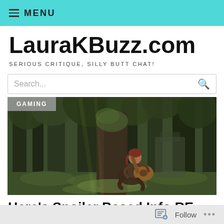MENU
LauraKBuzz.com
SERIOUS CRITIQUE, SILLY BUTT CHAT!
Search...
[Figure (photo): A character from The Last of Us Part 2 sitting cross-legged in a mossy forest, playing an acoustic guitar. Tall dark trees and soft green forest light in background. GAMING category tag overlaid in top-left corner.]
Here’s Spoiler Based Info RE The LGBT Content in The Last of Us: Part 2